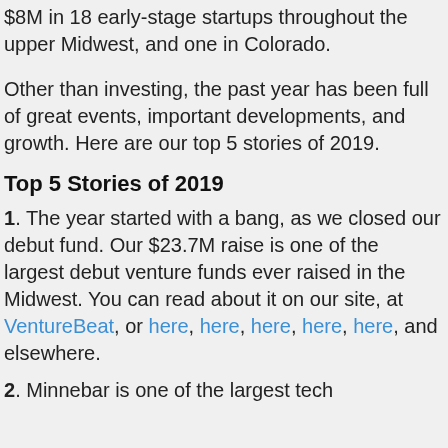$8M in 18 early-stage startups throughout the upper Midwest, and one in Colorado.
Other than investing, the past year has been full of great events, important developments, and growth. Here are our top 5 stories of 2019.
Top 5 Stories of 2019
1. The year started with a bang, as we closed our debut fund. Our $23.7M raise is one of the largest debut venture funds ever raised in the Midwest. You can read about it on our site, at VentureBeat, or here, here, here, here, here, and elsewhere.
2. Minnebar is one of the largest tech